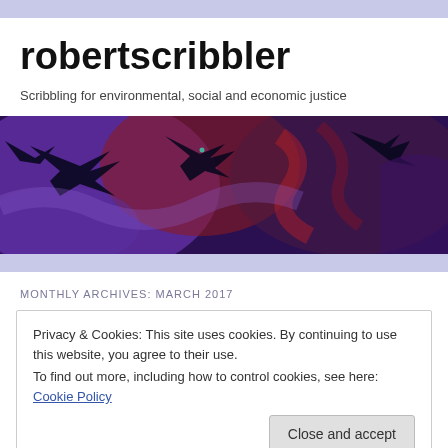robertscribbler
Scribbling for environmental, social and economic justice
[Figure (illustration): A dark fantasy painting showing birds (ravens/crows) in flight against a purple, red and dark background with smoky atmospheric effects]
MONTHLY ARCHIVES: MARCH 2017
Privacy & Cookies: This site uses cookies. By continuing to use this website, you agree to their use.
To find out more, including how to control cookies, see here: Cookie Policy
Close and accept
Liberal Democracy